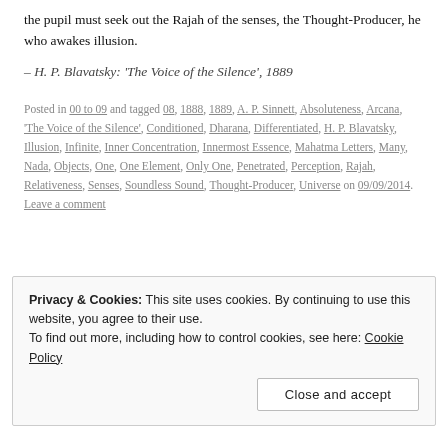the pupil must seek out the Rajah of the senses, the Thought-Producer, he who awakes illusion.
– H. P. Blavatsky: 'The Voice of the Silence', 1889
Posted in 00 to 09 and tagged 08, 1888, 1889, A. P. Sinnett, Absoluteness, Arcana, 'The Voice of the Silence', Conditioned, Dharana, Differentiated, H. P. Blavatsky, Illusion, Infinite, Inner Concentration, Innermost Essence, Mahatma Letters, Many, Nada, Objects, One, One Element, Only One, Penetrated, Perception, Rajah, Relativeness, Senses, Soundless Sound, Thought-Producer, Universe on 09/09/2014. Leave a comment
Privacy & Cookies: This site uses cookies. By continuing to use this website, you agree to their use. To find out more, including how to control cookies, see here: Cookie Policy
Close and accept